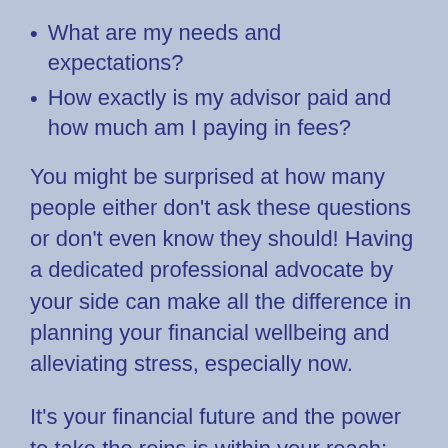What are my needs and expectations?
How exactly is my advisor paid and how much am I paying in fees?
You might be surprised at how many people either don't ask these questions or don't even know they should! Having a dedicated professional advocate by your side can make all the difference in planning your financial wellbeing and alleviating stress, especially now.
It's your financial future and the power to take the reins is within your reach; let's find that peace of mind together.